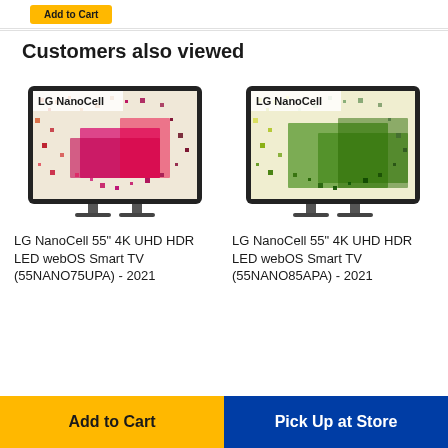Add to Cart
Customers also viewed
[Figure (photo): LG NanoCell 55" 4K UHD HDR LED webOS Smart TV displaying colorful pixel mosaic pattern (red/pink tones) with LG NanoCell branding]
LG NanoCell 55" 4K UHD HDR LED webOS Smart TV (55NANO75UPA) - 2021
[Figure (photo): LG NanoCell 55" 4K UHD HDR LED webOS Smart TV displaying colorful pixel mosaic pattern (green/yellow tones) with LG NanoCell branding]
LG NanoCell 55" 4K UHD HDR LED webOS Smart TV (55NANO85APA) - 2021
Add to Cart | Pick Up at Store